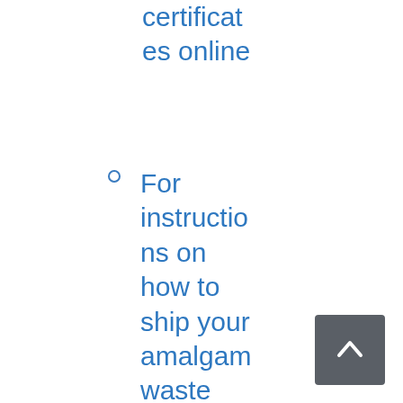certificates online
For instructions on how to ship your amalgam waste products for recycling check out